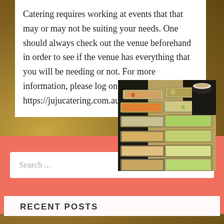Catering requires working at events that that may or may not be suiting your needs. One should always check out the venue beforehand in order to see if the venue has everything that you will be needing or not. For more information, please log on to https://jujucatering.com.au/.
[Figure (photo): Photo of catering buffet food trays with a person serving food]
Search ...
RECENT POSTS